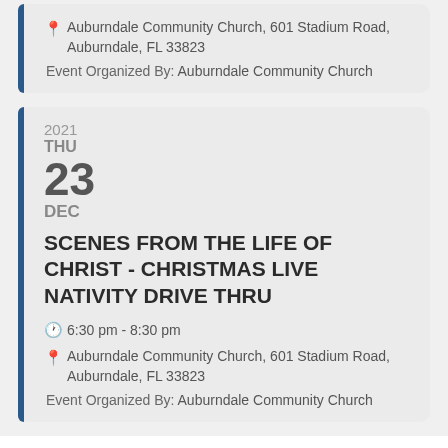Auburndale Community Church, 601 Stadium Road, Auburndale, FL 33823
Event Organized By: Auburndale Community Church
2021 THU 23 DEC
SCENES FROM THE LIFE OF CHRIST - CHRISTMAS LIVE NATIVITY DRIVE THRU
6:30 pm - 8:30 pm
Auburndale Community Church, 601 Stadium Road, Auburndale, FL 33823
Event Organized By: Auburndale Community Church
Local favorite Lights of Lakeland at